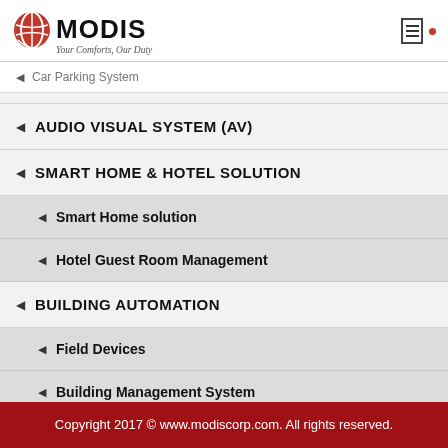MODIS - Your Comforts, Our Duty
Car Parking System
AUDIO VISUAL SYSTEM (AV)
SMART HOME & HOTEL SOLUTION
Smart Home solution
Hotel Guest Room Management
BUILDING AUTOMATION
Field Devices
Building Management System
Copyright 2017 © www.modiscorp.com. All rights reserved.